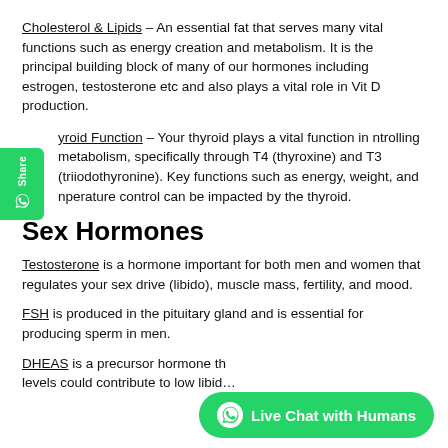Cholesterol & Lipids – An essential fat that serves many vital functions such as energy creation and metabolism. It is the principal building block of many of our hormones including estrogen, testosterone etc and also plays a vital role in Vit D production.
Thyroid Function – Your thyroid plays a vital function in controlling metabolism, specifically through T4 (thyroxine) and T3 (triiodothyronine). Key functions such as energy, weight, and temperature control can be impacted by the thyroid.
Sex Hormones
Testosterone is a hormone important for both men and women that regulates your sex drive (libido), muscle mass, fertility, and mood.
FSH is produced in the pituitary gland and is essential for producing sperm in men.
DHEAS is a precursor hormone that levels could contribute to low libido